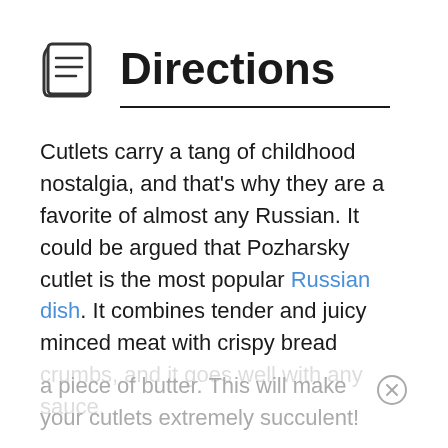Directions
Cutlets carry a tang of childhood nostalgia, and that's why they are a favorite of almost any Russian. It could be argued that Pozharsky cutlet is the most popular Russian dish. It combines tender and juicy minced meat with crispy bread crumbs, and it goes well with any sauce.
The secret to making this cutlet extra flavorful is soaking some white bread in milk or heavy cream and then adding it to the meat along with a piece of butter. This will make your cutlets extremely succulent!